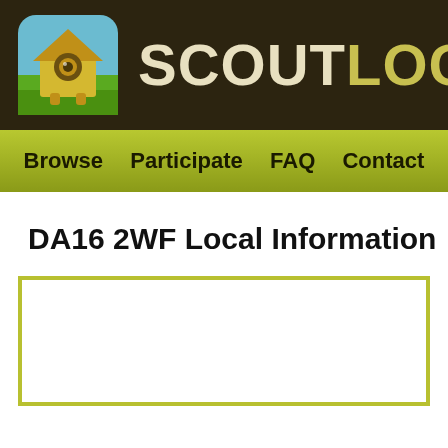[Figure (logo): ScoutLocal website header with app icon logo (cartoon house character on blue/green background with rounded corners) and SCOUTLOCAL text logo in cream and olive/yellow on dark brown background]
Browse  Participate  FAQ  Contact
DA16 2WF Local Information
[Figure (other): White content card with olive/yellow-green border, partially visible at bottom of page]